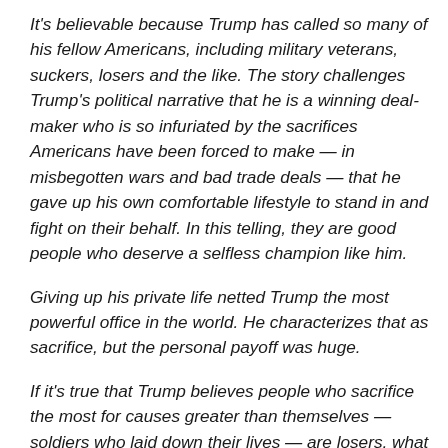It's believable because Trump has called so many of his fellow Americans, including military veterans, suckers, losers and the like. The story challenges Trump's political narrative that he is a winning deal-maker who is so infuriated by the sacrifices Americans have been forced to make — in misbegotten wars and bad trade deals — that he gave up his own comfortable lifestyle to stand in and fight on their behalf. In this telling, they are good people who deserve a selfless champion like him.
Giving up his private life netted Trump the most powerful office in the world. He characterizes that as sacrifice, but the personal payoff was huge.
If it's true that Trump believes people who sacrifice the most for causes greater than themselves — soldiers who laid down their lives — are losers, what does he think of